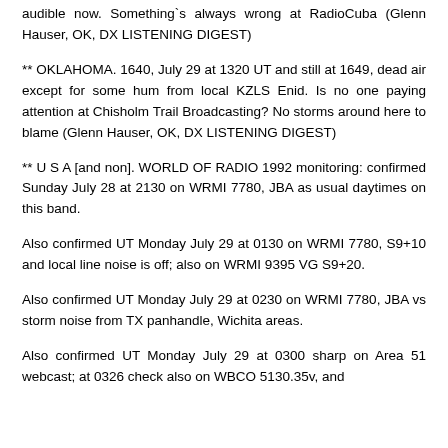audible now. Something`s always wrong at RadioCuba (Glenn Hauser, OK, DX LISTENING DIGEST)
** OKLAHOMA. 1640, July 29 at 1320 UT and still at 1649, dead air except for some hum from local KZLS Enid. Is no one paying attention at Chisholm Trail Broadcasting? No storms around here to blame (Glenn Hauser, OK, DX LISTENING DIGEST)
** U S A [and non]. WORLD OF RADIO 1992 monitoring: confirmed Sunday July 28 at 2130 on WRMI 7780, JBA as usual daytimes on this band.
Also confirmed UT Monday July 29 at 0130 on WRMI 7780, S9+10 and local line noise is off; also on WRMI 9395 VG S9+20.
Also confirmed UT Monday July 29 at 0230 on WRMI 7780, JBA vs storm noise from TX panhandle, Wichita areas.
Also confirmed UT Monday July 29 at 0300 sharp on Area 51 webcast; at 0326 check also on WBCO 5130.35v, and